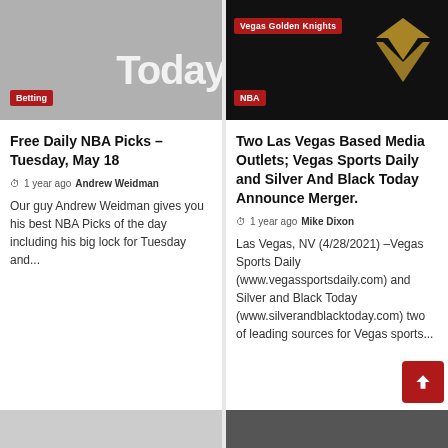[Figure (photo): Sports image with 'Betting' badge and partial 'Today' text overlay]
Free Daily NBA Picks – Tuesday, May 18
1 year ago  Andrew Weidman
Our guy Andrew Weidman gives you his best NBA Picks of the day including his big lock for Tuesday and...
[Figure (photo): Vegas Golden Knights logo on black background with 'Vegas Golden Knights' badge and 'NBA' badge]
Two Las Vegas Based Media Outlets; Vegas Sports Daily and Silver And Black Today Announce Merger.
1 year ago  Mike Dixon
Las Vegas, NV (4/28/2021) –Vegas Sports Daily (www.vegassportsdaily.com) and Silver and Black Today (www.silverandblacktoday.com) two of leading sources for Vegas sports...
[Figure (photo): Partial image at bottom left, gray]
[Figure (photo): Partial sports image at bottom right]